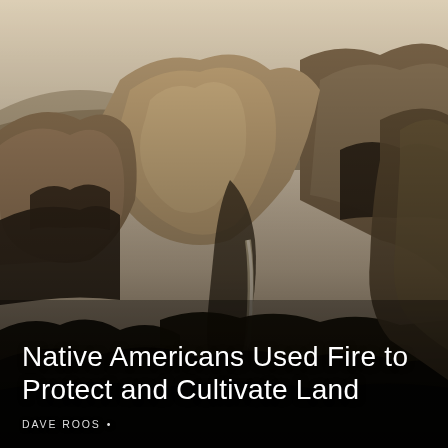[Figure (photo): Sepia-toned historical photograph of a dramatic mountain landscape, likely Yosemite Valley, showing large granite rock formations, a waterfall in the middle distance, coniferous trees, and rugged canyon terrain under a hazy sky.]
Native Americans Used Fire to Protect and Cultivate Land
DAVE ROOS •